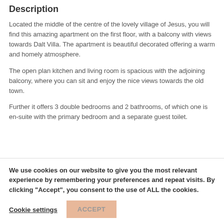Description
Located the middle of the centre of the lovely village of Jesus, you will find this amazing apartment on the first floor, with a balcony with views towards Dalt Villa. The apartment is beautiful decorated offering a warm and homely atmosphere.
The open plan kitchen and living room is spacious with the adjoining balcony, where you can sit and enjoy the nice views towards the old town.
Further it offers 3 double bedrooms and 2 bathrooms, of which one is en-suite with the primary bedroom and a separate guest toilet.
We use cookies on our website to give you the most relevant experience by remembering your preferences and repeat visits. By clicking "Accept", you consent to the use of ALL the cookies.
Cookie settings
ACCEPT